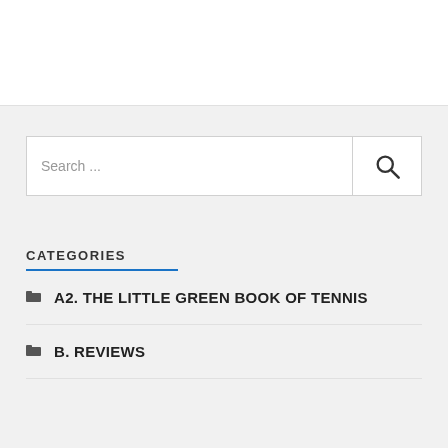[Figure (screenshot): Top white area representing header/banner space]
Search ...
CATEGORIES
A2. THE LITTLE GREEN BOOK OF TENNIS
B. REVIEWS